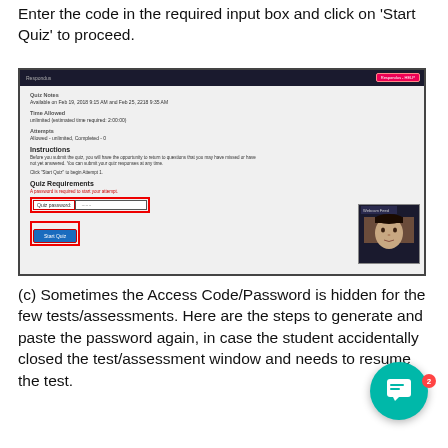Enter the code in the required input box and click on 'Start Quiz' to proceed.
[Figure (screenshot): Screenshot of a Moodle quiz page showing Quiz Notes, Time Allowed, Attempts sections, Instructions, Quiz Requirements with a password field highlighted in red, and a Start Quiz button. A webcam feed of a student is visible in the bottom right corner.]
(c) Sometimes the Access Code/Password is hidden for the few tests/assessments. Here are the steps to generate and paste the password again, in case the student accidentally closed the test/assessment window and needs to resume the test.